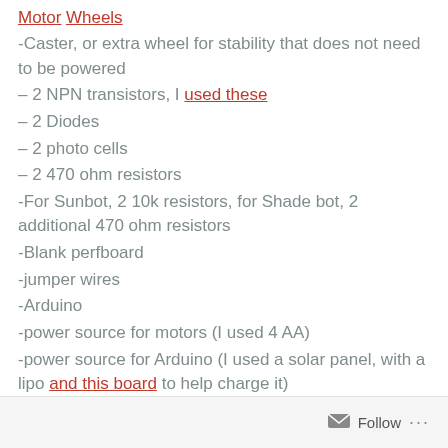Motor Wheels
-Caster, or extra wheel for stability that does not need to be powered
– 2 NPN transistors, I used these
– 2 Diodes
– 2 photo cells
– 2 470 ohm resistors
-For Sunbot, 2 10k resistors, for Shade bot, 2 additional 470 ohm resistors
-Blank perfboard
-jumper wires
-Arduino
-power source for motors (I used 4 AA)
-power source for Arduino (I used a solar panel, with a lipo and this board to help charge it)
-A plant that likes the sun!
Follow ...